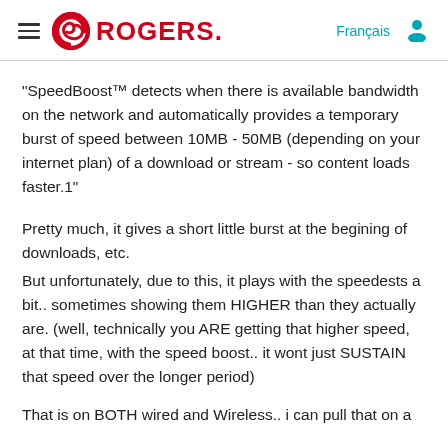ROGERS  Français
"SpeedBoost™ detects when there is available bandwidth on the network and automatically provides a temporary burst of speed between 10MB - 50MB (depending on your internet plan) of a download or stream - so content loads faster.1"
Pretty much, it gives a short little burst at the begining of downloads, etc.
But unfortunately, due to this, it plays with the speedests a bit.. sometimes showing them HIGHER than they actually are. (well, technically you ARE getting that higher speed, at that time, with the speed boost.. it wont just SUSTAIN that speed over the longer period)
That is on BOTH wired and Wireless.. i can pull that on a